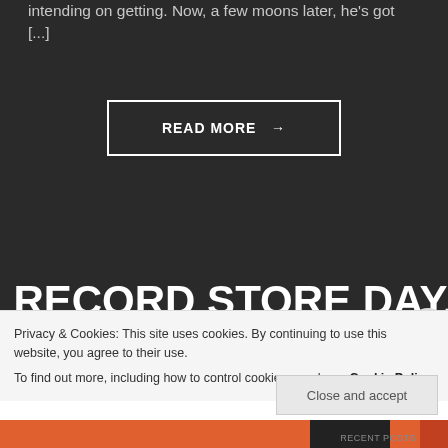intending on getting. Now, a few moons later, he's got [...]
READ MORE →
RECORD STORE DAY, THE
Privacy & Cookies: This site uses cookies. By continuing to use this website, you agree to their use.
To find out more, including how to control cookies, see here: Cookie Policy
Close and accept